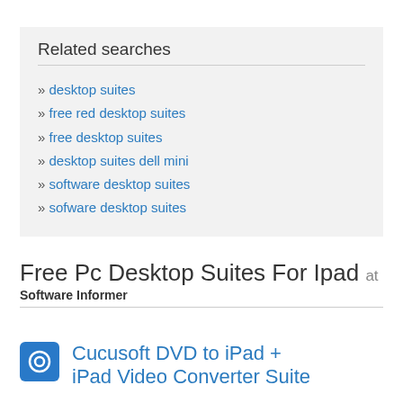Related searches
desktop suites
free red desktop suites
free desktop suites
desktop suites dell mini
software desktop suites
sofware desktop suites
Free Pc Desktop Suites For Ipad at Software Informer
Cucusoft DVD to iPad + iPad Video Converter Suite